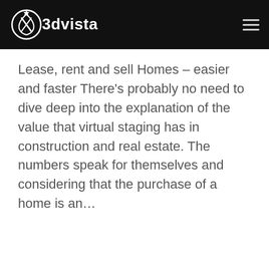3dvista
Lease, rent and sell Homes – easier and faster There's probably no need to dive deep into the explanation of the value that virtual staging has in construction and real estate. The numbers speak for themselves and considering that the purchase of a home is an...